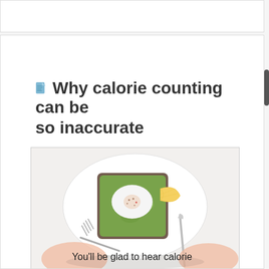Why calorie counting can be so inaccurate
[Figure (photo): Top-down view of a plate with avocado toast topped with a poached egg and seasoning, a lemon wedge on the side, with a person's hands holding a fork and knife, about to eat.]
You'll be glad to hear calorie